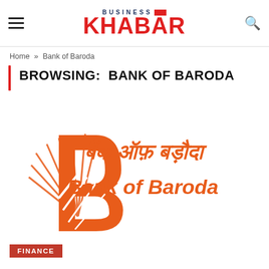BUSINESS KHABAR
Home » Bank of Baroda
BROWSING:  BANK OF BARODA
[Figure (logo): Bank of Baroda logo with orange B emblem and text 'बैंक ऑफ़ बड़ौदा / Bank of Baroda' in orange]
FINANCE